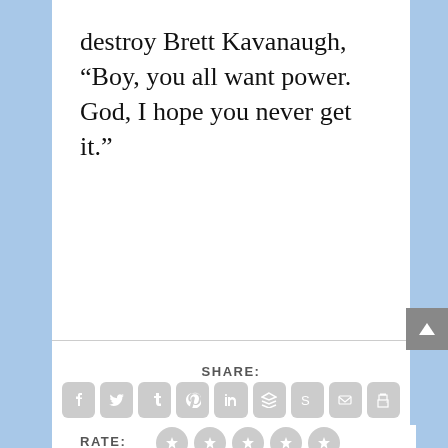destroy Brett Kavanaugh, “Boy, you all want power. God, I hope you never get it.”
SHARE:
[Figure (infographic): Row of 9 social sharing icon buttons (Facebook, Twitter, Tumblr, Pinterest, LinkedIn, Buffer/layers, StumbleUpon, Email, Print) in gray rounded square icons]
RATE:
[Figure (infographic): Five star rating circles in gray]